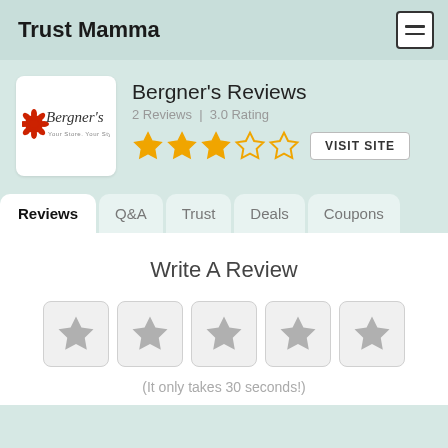Trust Mamma
Bergner's Reviews
2 Reviews | 3.0 Rating
VISIT SITE
Reviews
Q&A
Trust
Deals
Coupons
Write A Review
(It only takes 30 seconds!)